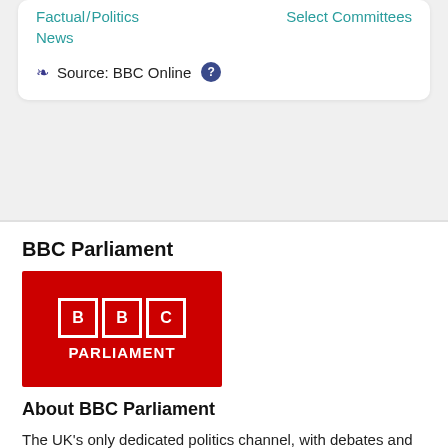Factual / Politics
Select Committees
News
Source: BBC Online ?
BBC Parliament
[Figure (logo): BBC Parliament logo — red background with BBC in white bordered boxes and PARLIAMENT text below]
About BBC Parliament
The UK's only dedicated politics channel, with debates and committees from Westminster, Holyrood, Stormont, Cardiff Bay and Strasbourg and political programmes from across the UK.